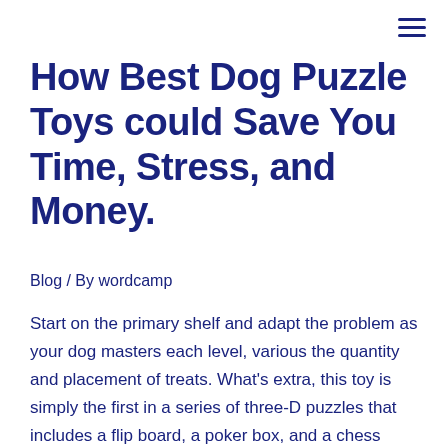How Best Dog Puzzle Toys could Save You Time, Stress, and Money.
Blog / By wordcamp
Start on the primary shelf and adapt the problem as your dog masters each level, various the quantity and placement of treats. What's extra, this toy is simply the first in a series of three-D puzzles that includes a flip board, a poker box, and a chess recreation. If you don't know where to start, here's how a purchaser detailed their technique in a review on Amazon. “I combine a stage 1, level 2, and this degree three Trixie recreation,” they wrote, “and it keeps her busy for a bit.” Typically, puzzle toys for canine involve hiding treats somewhere within the system